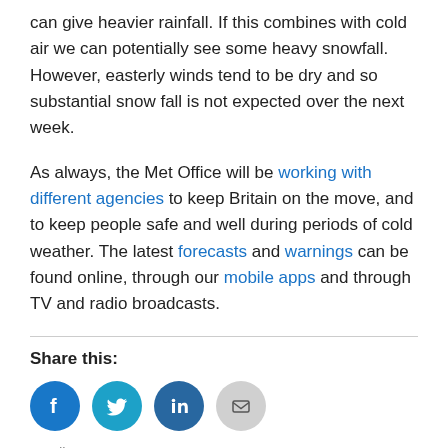can give heavier rainfall. If this combines with cold air we can potentially see some heavy snowfall. However, easterly winds tend to be dry and so substantial snow fall is not expected over the next week.
As always, the Met Office will be working with different agencies to keep Britain on the move, and to keep people safe and well during periods of cold weather. The latest forecasts and warnings can be found online, through our mobile apps and through TV and radio broadcasts.
Share this:
[Figure (infographic): Four social share buttons: Facebook (blue circle), Twitter (light blue circle), LinkedIn (dark blue circle), Email (grey circle)]
Loading...